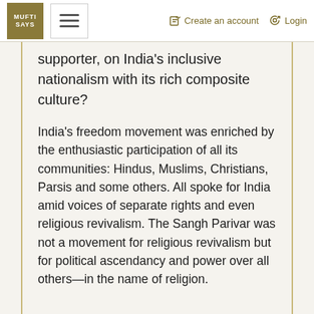MUFTI SAYS | Create an account | Login
supporter, on India's inclusive nationalism with its rich composite culture?
India's freedom movement was enriched by the enthusiastic participation of all its communities: Hindus, Muslims, Christians, Parsis and some others. All spoke for India amid voices of separate rights and even religious revivalism. The Sangh Parivar was not a movement for religious revivalism but for political ascendancy and power over all others—in the name of religion.